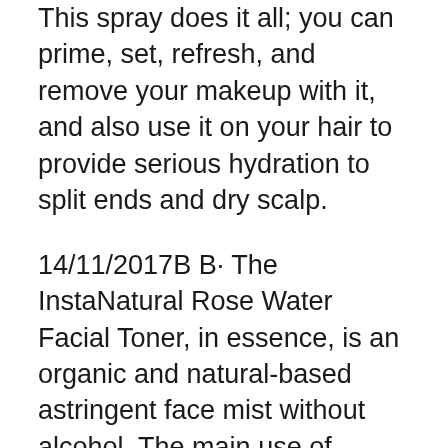This spray does it all; you can prime, set, refresh, and remove your makeup with it, and also use it on your hair to provide serious hydration to split ends and dry scalp.
14/11/2017B B· The InstaNatural Rose Water Facial Toner, in essence, is an organic and natural-based astringent face mist without alcohol. The main use of InstaNatural Rose Water Facial Toner is to clear and tighten the pores for smooth-looking and feeling skin, while hydrating and calming the treatment for people with sensitive and breakout prone skin. The It is a tonic that soothes and nourishes the skin, dating back thousands of years. Rose water is an